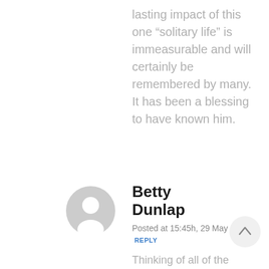lasting impact of this one “solitary life” is immeasurable and will certainly be remembered by many. It has been a blessing to have known him.
Betty Dunlap
Posted at 15:45h, 29 May  REPLY
Thinking of all of the family and